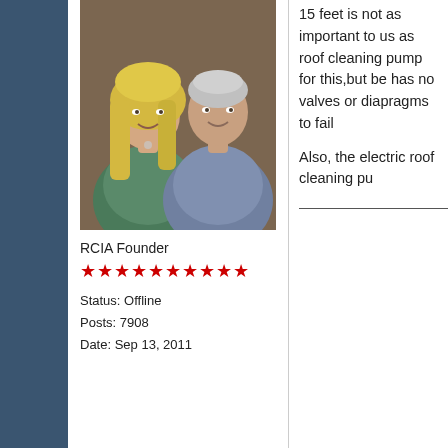[Figure (photo): Profile photo of two people (a blonde woman and a grey-haired man) sitting together at what appears to be a restaurant or event]
RCIA Founder
★★★★★★★★★★
Status: Offline
Posts: 7908
Date: Sep 13, 2011
15 feet is not as important to us as  roof cleaning pump for this,but be has no valves or diapragms to fail
Also, the electric roof cleaning pu